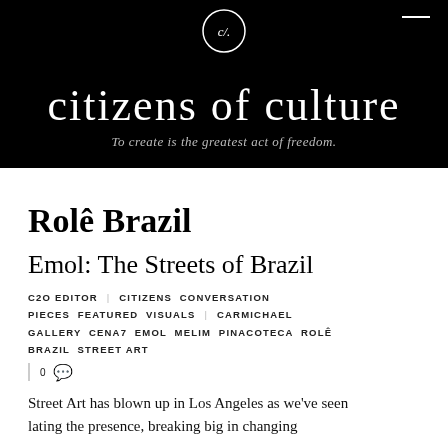citizens of culture — To create is the greatest act of freedom.
Rolê Brazil
Emol: The Streets of Brazil
C2O EDITOR | CITIZENS  CONVERSATION PIECES  FEATURED  VISUALS | CARMICHAEL GALLERY  CENA7  EMOL  MELIM  PINACOTECA  ROLÊ BRAZIL  STREET ART
0
Street Art has blown up in Los Angeles as we've seenLatinAmerican artists make big impacts in changing